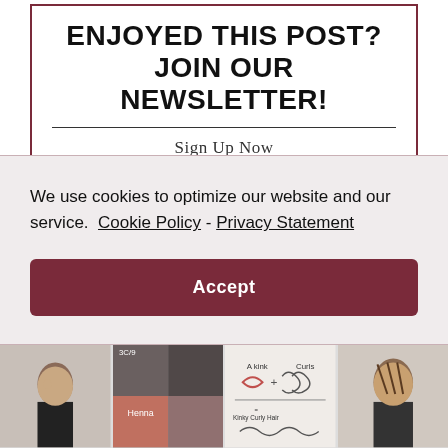ENJOYED THIS POST? JOIN OUR NEWSLETTER!
Sign Up Now
We use cookies to optimize our website and our service.  Cookie Policy - Privacy Statement
Accept
[Figure (photo): Bottom strip showing four hair-related photos: woman profile, close-up of hair texture, infographic with kink+curls=kinky curly hair, and woman with braids profile.]